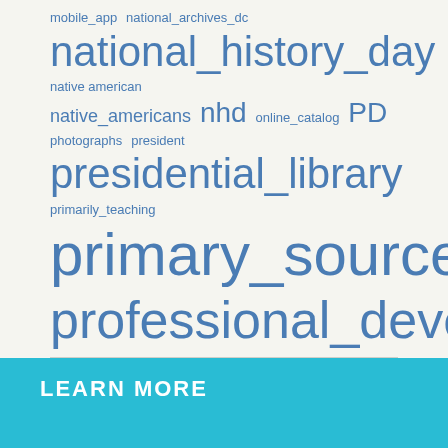[Figure (other): Tag cloud with terms of varying sizes in blue: mobile_app, national_archives_dc, national_history_day, native american, native_americans, nhd, online_catalog, PD, photographs, president, presidential_library, primarily_teaching, primary_sources, professional_development, public_program, research, truman, truman_library, voting_rights, webinar, women, women's_rights, WWI, wwii]
LEARN MORE